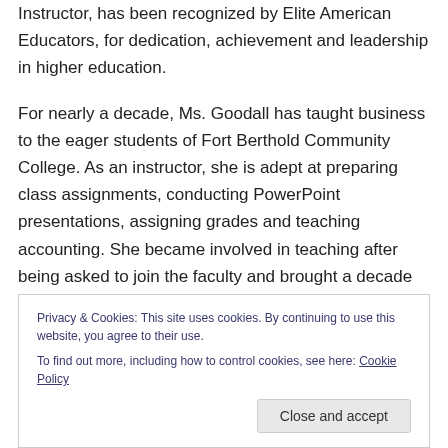Instructor, has been recognized by Elite American Educators, for dedication, achievement and leadership in higher education.
For nearly a decade, Ms. Goodall has taught business to the eager students of Fort Berthold Community College. As an instructor, she is adept at preparing class assignments, conducting PowerPoint presentations, assigning grades and teaching accounting. She became involved in teaching after being asked to join the faculty and brought a decade of experience when she
Privacy & Cookies: This site uses cookies. By continuing to use this website, you agree to their use.
To find out more, including how to control cookies, see here: Cookie Policy
Close and accept